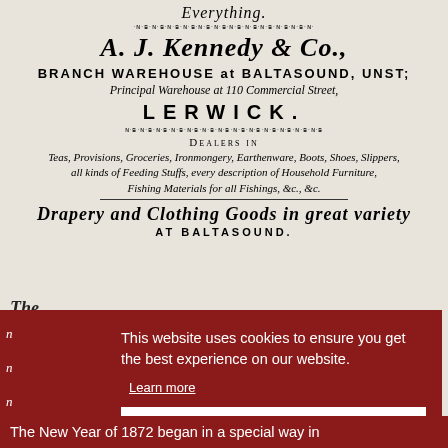Everything.
A. J. Kennedy & Co.,
BRANCH WAREHOUSE at BALTASOUND, UNST;
Principal Warehouse at 110 Commercial Street,
LERWICK.
DEALERS IN
Teas, Provisions, Groceries, Ironmongery, Earthenware, Boots, Shoes, Slippers, all kinds of Feeding Stuffs, every description of Household Furniture, Fishing Materials for all Fishings, &c., &c.
Drapery and Clothing Goods in great variety
AT BALTASOUND.
This website uses cookies to ensure you get the best experience on our website.
Learn more
Got it!
The New Year of 1872 began in a special way in